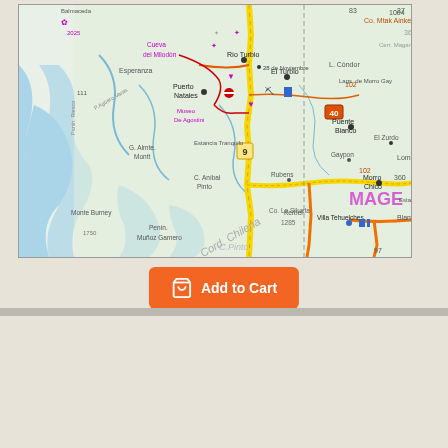[Figure (map): Patagonia and Tierra del Fuego road and shaded relief tourist map showing southern Argentina and Chile, with towns including Río Turbio, El Turbio, 28 de Noviembre, Puerto Natales, Cueva del Milodón, Puente Blanco, El Zurdo, Gaypon, Morro Chico, Villa Tehuelches, Monte Burney, Penín. Muñoz Gamero, roads numbered 9, 40, 102, 97, geographic features like Cord. Chilena, C. Pinto, Co. La Silueta, L. Cóndor, Lags. de Morro Gay.]
Add to Cart
Patagonia and Tierra del Fuego, Road and Shaded Relief Tourist Map, Argentina and Chile.
$15.95
Item Code : AUPA4932